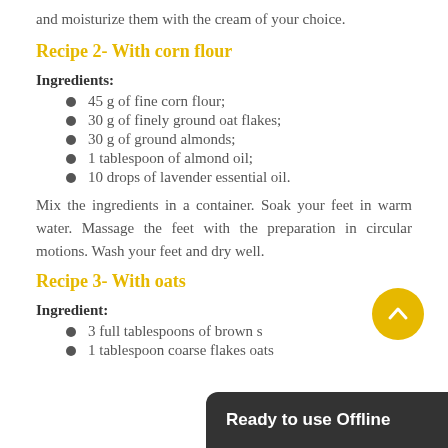and moisturize them with the cream of your choice.
Recipe 2- With corn flour
Ingredients:
45 g of fine corn flour;
30 g of finely ground oat flakes;
30 g of ground almonds;
1 tablespoon of almond oil;
10 drops of lavender essential oil.
Mix the ingredients in a container. Soak your feet in warm water. Massage the feet with the preparation in circular motions. Wash your feet and dry well.
Recipe 3- With oats
Ingredient:
3 full tablespoons of brown s
1 tablespoon coarse flakes oats